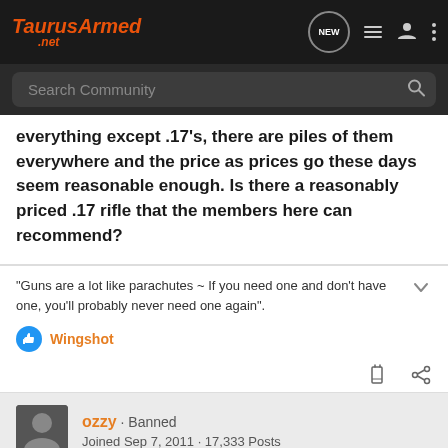TaurusArmed.net
everything except .17's, there are piles of them everywhere and the price as prices go these days seem reasonable enough. Is there a reasonably priced .17 rifle that the members here can recommend?
"Guns are a lot like parachutes ~ If you need one and don't have one, you'll probably never need one again".
Wingshot
ozzy · Banned
Joined Sep 7, 2011 · 17,333 Posts